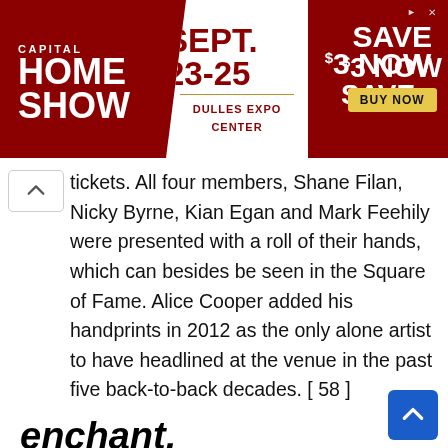[Figure (other): Capital Home Show advertisement banner. Red background with white text: CAPITAL HOME SHOW. Center white diagonal panel: SEPT. 23-25, DULLES EXPO CENTER. Right panel: SAVE $3 NOW with yellow BUY NOW button.]
tickets. All four members, Shane Filan, Nicky Byrne, Kian Egan and Mark Feehily were presented with a roll of their hands, which can besides be seen in the Square of Fame. Alice Cooper added his handprints in 2012 as the only alone artist to have headlined at the venue in the past five back-to-back decades. [ 58 ]
enchant.
Wembley Arena is served by Wembley Park place on the London Underground via Olympic Way, and Wembley Central station via the White Horse Bridge. discipline services are